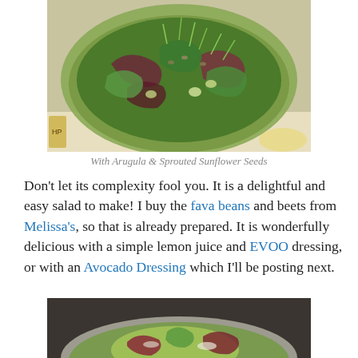[Figure (photo): A salad bowl filled with mixed greens, arugula, fava beans, beets, and sprouted sunflower seeds, in a green rimmed bowl]
With Arugula & Sprouted Sunflower Seeds
Don't let its complexity fool you. It is a delightful and easy salad to make! I buy the fava beans and beets from Melissa's, so that is already prepared. It is wonderfully delicious with a simple lemon juice and EVOO dressing, or with an Avocado Dressing which I'll be posting next.
[Figure (photo): A salad bowl with avocado dressing drizzled over mixed greens and vegetables]